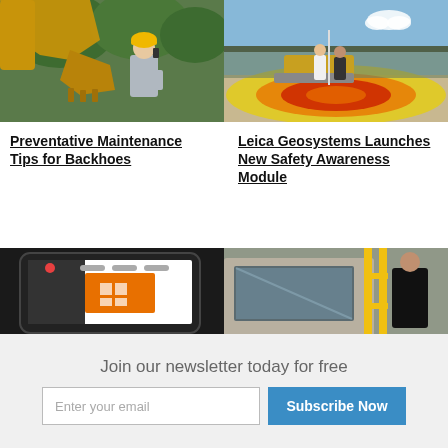[Figure (photo): Worker in yellow hard hat inspecting excavator bucket arm, green trees in background]
[Figure (photo): Two workers in safety vests standing near a bulldozer on ground with colorful heat-map markings, blue sky and fence in background]
Preventative Maintenance Tips for Backhoes
Leica Geosystems Launches New Safety Awareness Module
[Figure (screenshot): Tablet/iPad showing a construction app with orange and black interface]
[Figure (photo): Worker standing next to large construction machine cab with yellow railing]
Join our newsletter today for free